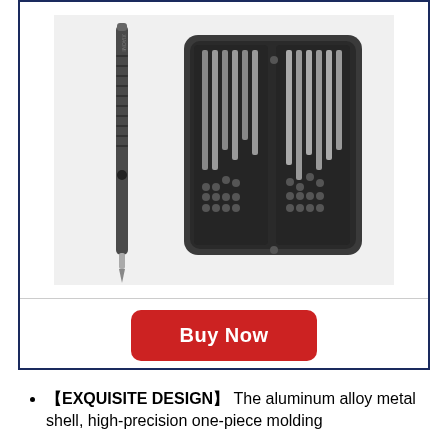[Figure (photo): Electric screwdriver kit with case open showing multiple screwdriver bits organized in a dark gray aluminum case, with the screwdriver pen tool beside it]
Buy Now
【EXQUISITE DESIGN】 The aluminum alloy metal shell, high-precision one-piece molding